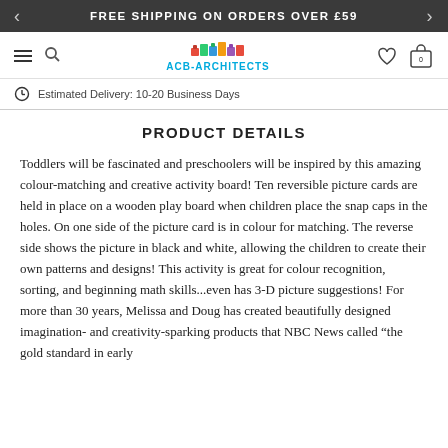FREE SHIPPING ON ORDERS OVER £59
[Figure (logo): ACB-ARCHITECTS colorful logo with brand name below]
Estimated Delivery: 10-20 Business Days
PRODUCT DETAILS
Toddlers will be fascinated and preschoolers will be inspired by this amazing colour-matching and creative activity board! Ten reversible picture cards are held in place on a wooden play board when children place the snap caps in the holes. On one side of the picture card is in colour for matching. The reverse side shows the picture in black and white, allowing the children to create their own patterns and designs! This activity is great for colour recognition, sorting, and beginning math skills...even has 3-D picture suggestions! For more than 30 years, Melissa and Doug has created beautifully designed imagination- and creativity-sparking products that NBC News called “the gold standard in early